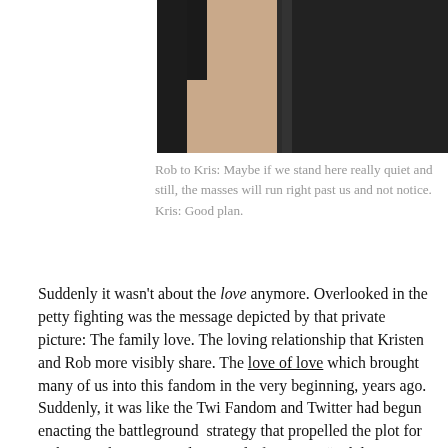[Figure (photo): Partial photo of two people, one showing a bare arm on the left and the other wearing a dark leather jacket on the right, cropped at the top of the page.]
Rob to Kris: Maybe if we stand here really quiet and still, the masses will run right past us and not notice. Kris: Good plan.
Suddenly it wasn't about the love anymore. Overlooked in the petty fighting was the message depicted by that private picture: The family love. The loving relationship that Kristen and Rob more visibly share. The love of love which brought many of us into this fandom in the very beginning, years ago. Suddenly, it was like the Twi Fandom and Twitter had begun enacting the battleground strategy that propelled the plot for Eclipse: Who can wrestle control of as many “red dots” (followers, fans) as possible? Who is faster at posting an exclusive photo?